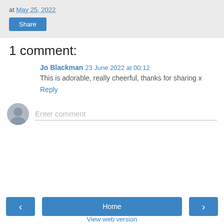at May 25, 2022
Share
1 comment:
Jo Blackman 23 June 2022 at 00:12
This is adorable, really cheerful, thanks for sharing x
Reply
Enter comment
‹
Home
›
View web version